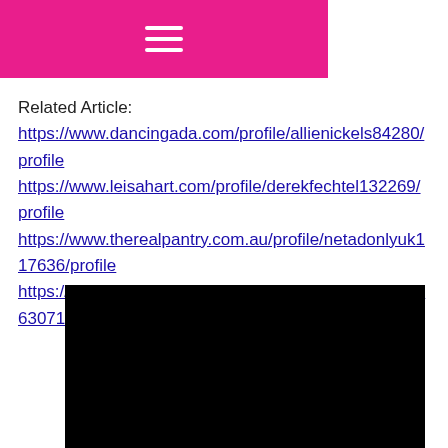☰
Related Article:
https://www.dancingada.com/profile/allienickels84280/profile
https://www.leisahart.com/profile/derekfechtel132269/profile
https://www.therealpantry.com.au/profile/netadonlyuk117636/profile
https://www.paulinchains.com/profile/stephanyplumlee63071/profile
[Figure (other): Black rectangle, appears to be a video embed placeholder]